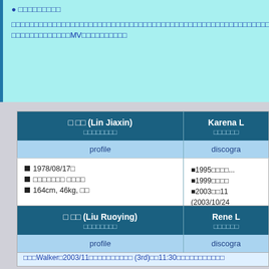■□□□□□□□□
□□□□□□□□□□□□□□□□□□□□□□□□□□□□□□□□□□□□□□□□□□□□□□□□□□□□□□□□□□□□□□MV□□□□□□□□□□
| □ □□ (Lin Jiaxin) □□□□□□□□ | Karena L □□□□□□ |
| --- | --- |
| profile | discogra |
| ■1978/08/17□
■□□□□□□□ □□□□
■164cm, 46kg, □□ | ■1995□□□□...
■1999□□□□
■2003□□11...(2003/10/24...
■2004□□□(2004/02)□"□□□□□ (2004/... |
□□□Walker□2003/11□□□□□□□□□□ (3rd)□□11:30□□□□□□□□□□□
| □ □□ (Liu Ruoying) □□□□□□□□ | Rene L □□□□□□ |
| --- | --- |
| profile | discogra |